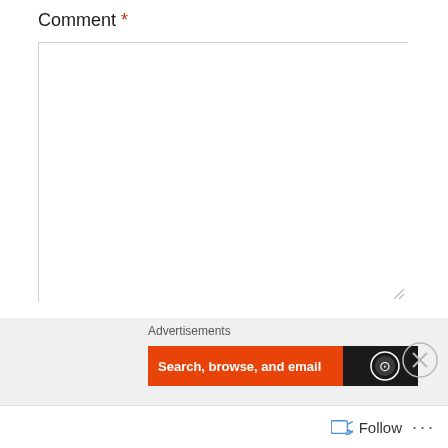Comment *
[Figure (screenshot): Empty comment textarea input field with resize handle at bottom right]
Name *
[Figure (screenshot): Empty name text input field]
Advertisements
[Figure (screenshot): Advertisement banner with orange background showing 'Search, browse, and email' text and a dark section with circular logo on right]
[Figure (screenshot): Close button (X in circle) for advertisement overlay]
Follow
...